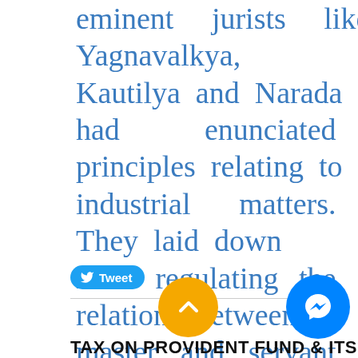eminent jurists like Manu, Yagnavalkya, Kautilya and Narada had enunciated principles relating to industrial matters. They laid down rules regulating the relations between master and servant in the matter of wages, breach of contract, leave, holidays, efficiency bonus and punishment of employees.
Tweet
TAX ON PROVIDENT FUND & ITS